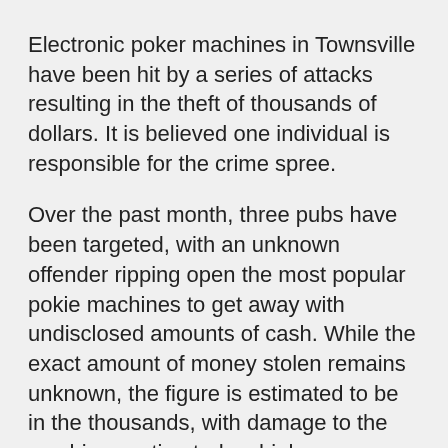Electronic poker machines in Townsville have been hit by a series of attacks resulting in the theft of thousands of dollars. It is believed one individual is responsible for the crime spree.
Over the past month, three pubs have been targeted, with an unknown offender ripping open the most popular pokie machines to get away with undisclosed amounts of cash. While the exact amount of money stolen remains unknown, the figure is estimated to be in the thousands, with damage to the machines estimated as high as $200,000.
Gaming rooms hit include The Avenues, Bohle Barn and The Bushland Beach Tavern, with one of the pubs being targeted more than once.
Detective Senior Constable...